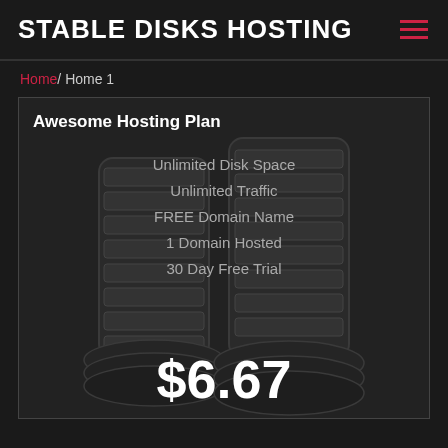STABLE DISKS HOSTING
Home / Home 1
Awesome Hosting Plan
Unlimited Disk Space
Unlimited Traffic
FREE Domain Name
1 Domain Hosted
30 Day Free Trial
$6.67